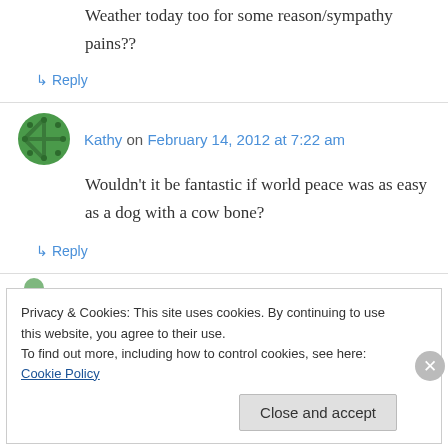Weather today too for some reason/sympathy pains??
↳ Reply
Kathy on February 14, 2012 at 7:22 am
Wouldn't it be fantastic if world peace was as easy as a dog with a cow bone?
↳ Reply
Privacy & Cookies: This site uses cookies. By continuing to use this website, you agree to their use.
To find out more, including how to control cookies, see here: Cookie Policy
Close and accept